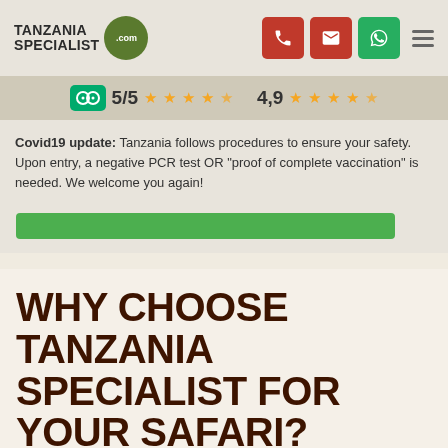[Figure (logo): Tanzania Specialist .com logo with green circle]
[Figure (infographic): Navigation icons: phone (red), email (red), WhatsApp (green), hamburger menu]
5/5 ★★★★★   4,9 ★★★★★
Covid19 update: Tanzania follows procedures to ensure your safety. Upon entry, a negative PCR test OR "proof of complete vaccination" is needed. We welcome you again!
[Figure (infographic): Green button/bar element]
WHY CHOOSE TANZANIA SPECIALIST FOR YOUR SAFARI?
There are so many tour operators to choose from